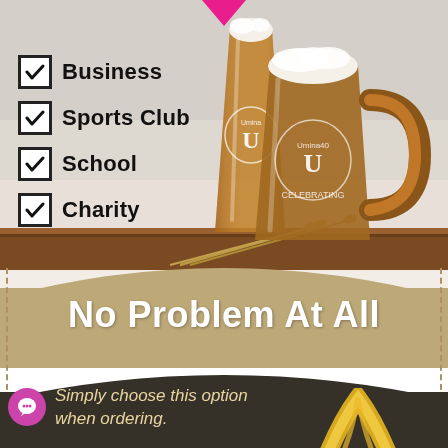[Figure (infographic): Infographic with beer mugs/glasses photo on tan background, checklist of Business, Sports Club, School, Charity with checkboxes, bold headline 'No Problem At All', and subtext 'Simply choose this option when ordering.']
✓ Business
✓ Sports Club
✓ School
✓ Charity
No Problem At All
Simply choose this option when ordering.